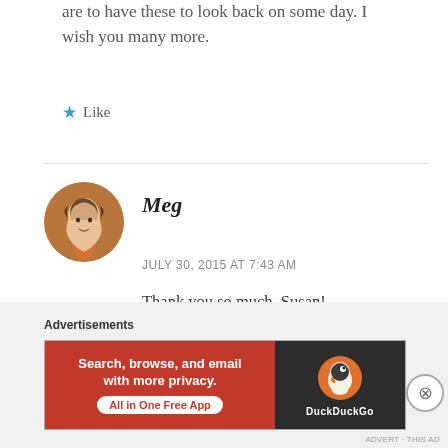are to have these to look back on some day. I wish you many more.
★ Like
[Figure (photo): Circular avatar photo of a woman named Meg with curly hair, smiling, wearing an orange top]
Meg
JULY 30, 2015 AT 7:43 AM
Thank you so much, Susan!
★ Like
Advertisements
[Figure (screenshot): DuckDuckGo advertisement banner: 'Search, browse, and email with more privacy. All in One Free App' with DuckDuckGo logo on dark background]